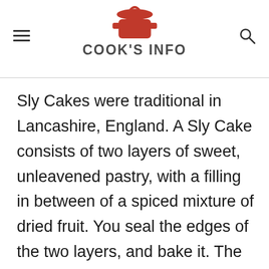COOK'S INFO
Sly Cakes were traditional in Lancashire, England. A Sly Cake consists of two layers of sweet, unleavened pastry, with a filling in between of a spiced mixture of dried fruit. You seal the edges of the two layers, and bake it. The pastry is made in a way remiscent of puff pastry, with a few...